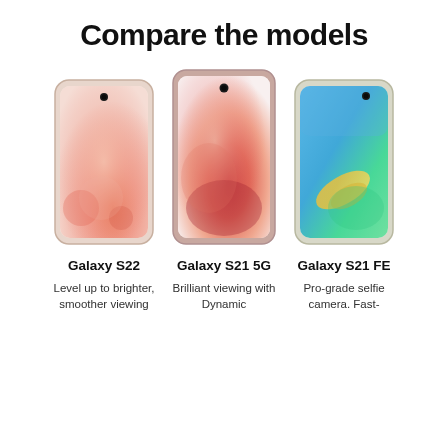Compare the models
[Figure (illustration): Three Samsung smartphones side by side: Galaxy S22 (pink/rose), Galaxy S21 5G (red/orange), Galaxy S21 FE (green/teal). Each phone shown in portrait with colorful wallpapers.]
Galaxy S22
Galaxy S21 5G
Galaxy S21 FE
Level up to brighter, smoother viewing
Brilliant viewing with Dynamic
Pro-grade selfie camera. Fast-